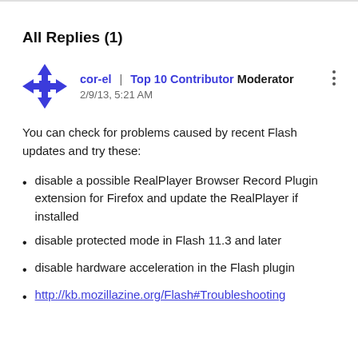All Replies (1)
cor-el | Top 10 Contributor Moderator
2/9/13, 5:21 AM
You can check for problems caused by recent Flash updates and try these:
disable a possible RealPlayer Browser Record Plugin extension for Firefox and update the RealPlayer if installed
disable protected mode in Flash 11.3 and later
disable hardware acceleration in the Flash plugin
http://kb.mozillazine.org/Flash#Troubleshooting